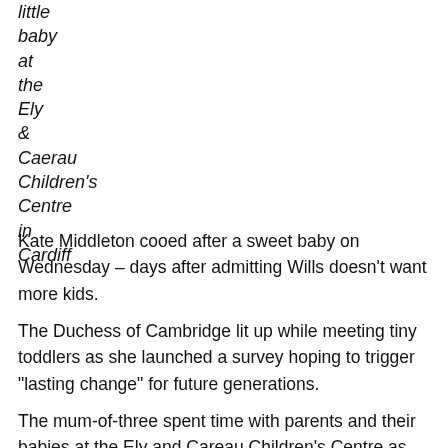little baby at the Ely & Caerau Children's Centre in Cardiff
Kate Middleton cooed after a sweet baby on Wednesday – days after admitting Wills doesn't want more kids.
The Duchess of Cambridge lit up while meeting tiny toddlers as she launched a survey hoping to trigger "lasting change" for future generations.
The mum-of-three spent time with parents and their babies at the Ely and Careau Children's Centre as she revealed the new